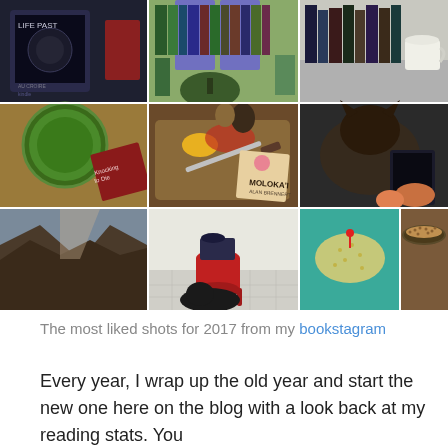[Figure (photo): 3x3 grid of Instagram (bookstagram) photos showing books, food, cats, nature landscapes, and reading setups. Most liked shots for 2017.]
The most liked shots for 2017 from my bookstagram
Every year, I wrap up the old year and start the new one here on the blog with a look back at my reading stats. You